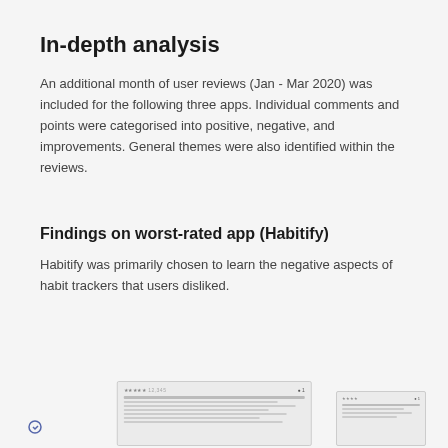In-depth analysis
An additional month of user reviews (Jan - Mar 2020) was included for the following three apps. Individual comments and points were categorised into positive, negative, and improvements. General themes were also identified within the reviews.
Findings on worst-rated app (Habitify)
Habitify was primarily chosen to learn the negative aspects of habit trackers that users disliked.
[Figure (screenshot): Small screenshot thumbnails of app review pages shown at the bottom of the page]